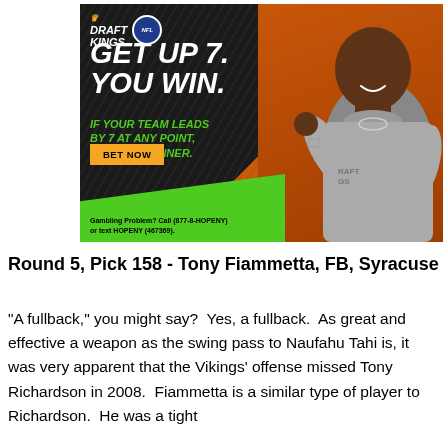[Figure (illustration): DraftKings NFL advertisement featuring a man in a gray DraftKings t-shirt. Text reads: GET UP 7. YOU WIN. IF YOUR TEAM LEADS BY 7 AT ANY POINT, YOU'RE A WINNER. BET NOW button. Gambling Problem? Call (877-8-HOPENY) or text HOPENY (467369).]
Round 5, Pick 158 - Tony Fiammetta, FB, Syracuse
"A fullback," you might say?  Yes, a fullback.  As great and effective a weapon as the swing pass to Naufahu Tahi is, it was very apparent that the Vikings' offense missed Tony Richardson in 2008.  Fiammetta is a similar type of player to Richardson.  He was a tight